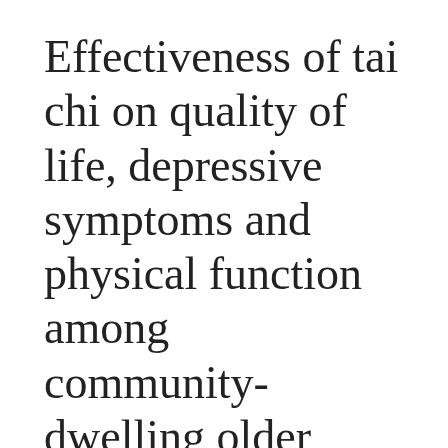Effectiveness of tai chi on quality of life, depressive symptoms and physical function among community-dwelling older adults with chronic